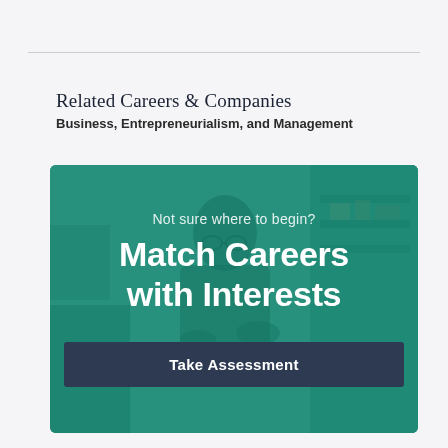Related Careers & Companies
Business, Entrepreneurialism, and Management
[Figure (infographic): Promotional banner with teal/green overlay on a photo of a person working at a desk with shelves in background. Text overlay reads: 'Not sure where to begin? Match Careers with Interests' with a dark navy 'Take Assessment' button.]